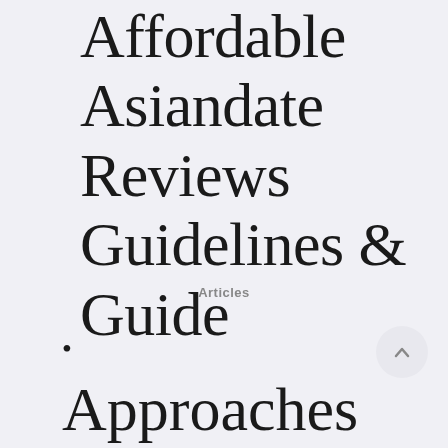Affordable Asiandate Reviews Guidelines & Guide
Articles
•
Approaches To Fi…